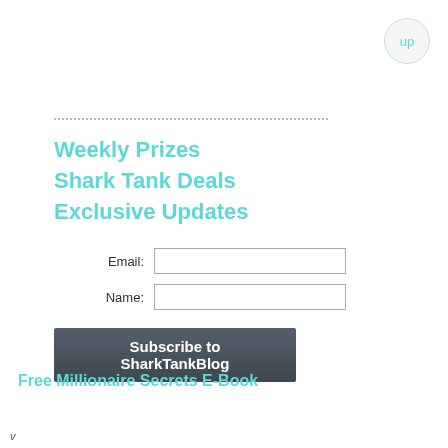up
.....................................................................................
Weekly Prizes
Shark Tank Deals
Exclusive Updates
Email:
Name:
Subscribe to SharkTankBlog
Free Millionaire Secrets E-Book